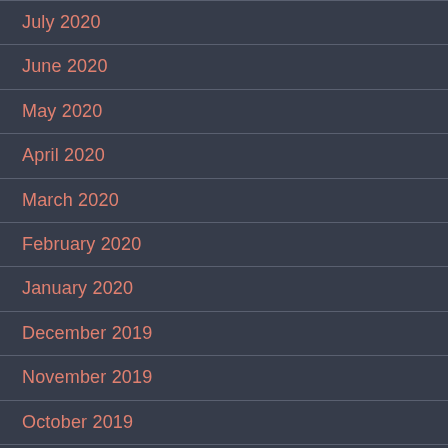July 2020
June 2020
May 2020
April 2020
March 2020
February 2020
January 2020
December 2019
November 2019
October 2019
September 2019